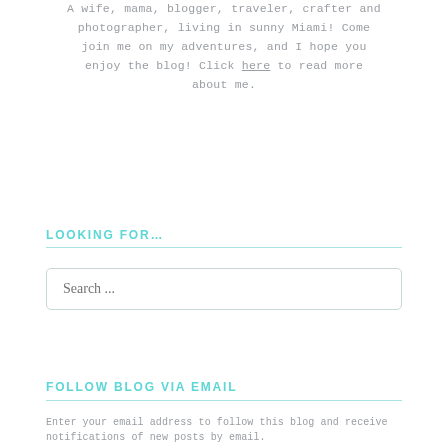A wife, mama, blogger, traveler, crafter and photographer, living in sunny Miami! Come join me on my adventures, and I hope you enjoy the blog! Click here to read more about me.
LOOKING FOR…
Search ...
FOLLOW BLOG VIA EMAIL
Enter your email address to follow this blog and receive notifications of new posts by email.